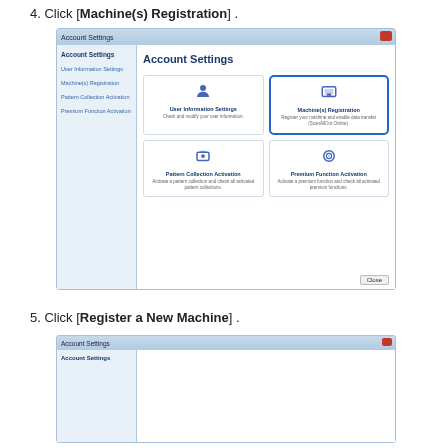4. Click [Machine(s) Registration] .
[Figure (screenshot): Account Settings dialog showing four option cards: User Information Settings, Machine(s) Registration (highlighted with blue border), Pattern Collection Activation, Premium Function Activation. Left sidebar shows navigation links. Close button at bottom right.]
5. Click [Register a New Machine] .
[Figure (screenshot): Account Settings dialog partially shown, with Account Settings sidebar title visible.]